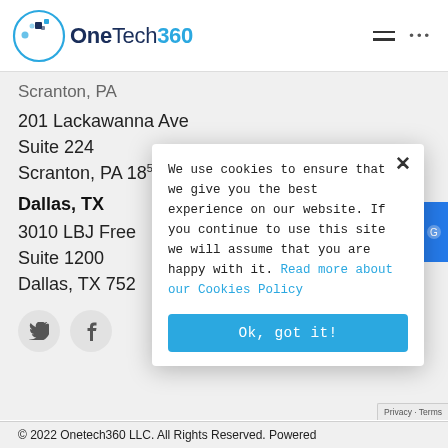[Figure (logo): OneTech360 logo with circular icon containing blue dots and squares]
Scranton, PA
201 Lackawanna Ave
Suite 224
Scranton, PA 18503
Dallas, TX
3010 LBJ Freeway
Suite 1200
Dallas, TX 752...
We use cookies to ensure that we give you the best experience on our website. If you continue to use this site we will assume that you are happy with it. Read more about our Cookies Policy
© 2022 Onetech360 LLC. All Rights Reserved. Powered